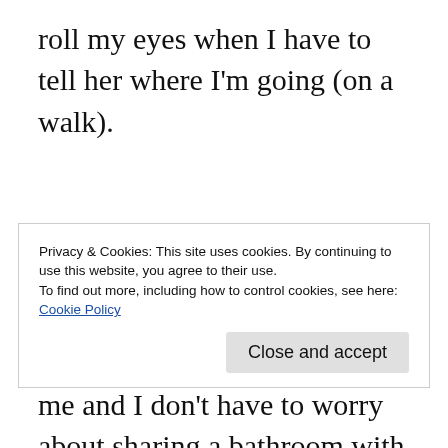roll my eyes when I have to tell her where I'm going (on a walk).
Since moving out, the majority of those things have fallen to the wayside. My weekly food shop is just for me and I don't have to worry about sharing a bathroom with my brother
Privacy & Cookies: This site uses cookies. By continuing to use this website, you agree to their use.
To find out more, including how to control cookies, see here: Cookie Policy
Close and accept